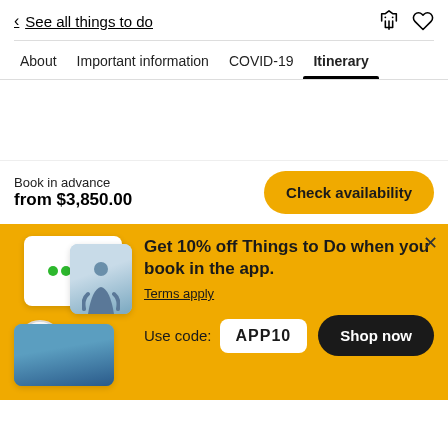< See all things to do
About  Important information  COVID-19  Itinerary
Book in advance
from $3,850.00
Check availability
[Figure (illustration): Promotional banner with app images, TripAdvisor badge, photos of people at beach/outdoor activities]
Get 10% off Things to Do when you book in the app.
Terms apply
Use code: APP10
Shop now